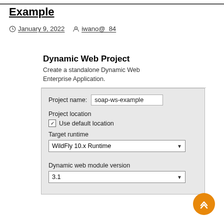Example
January 9, 2022   iwano@_84
[Figure (screenshot): Eclipse IDE dialog for creating a Dynamic Web Project. Shows project name field with 'soap-ws-example', Project location with 'Use default location' checkbox checked, Target runtime dropdown showing 'WildFly 10.x Runtime', and Dynamic web module version dropdown showing '3.1'.]